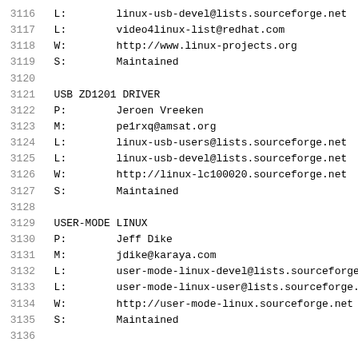3116    L:        linux-usb-devel@lists.sourceforge.net
3117    L:        video4linux-list@redhat.com
3118    W:        http://www.linux-projects.org
3119    S:        Maintained
3120
3121    USB ZD1201 DRIVER
3122    P:        Jeroen Vreeken
3123    M:        pe1rxq@amsat.org
3124    L:        linux-usb-users@lists.sourceforge.net
3125    L:        linux-usb-devel@lists.sourceforge.net
3126    W:        http://linux-lc100020.sourceforge.net
3127    S:        Maintained
3128
3129    USER-MODE LINUX
3130    P:        Jeff Dike
3131    M:        jdike@karaya.com
3132    L:        user-mode-linux-devel@lists.sourceforge
3133    L:        user-mode-linux-user@lists.sourceforge.
3134    W:        http://user-mode-linux.sourceforge.net
3135    S:        Maintained
3136